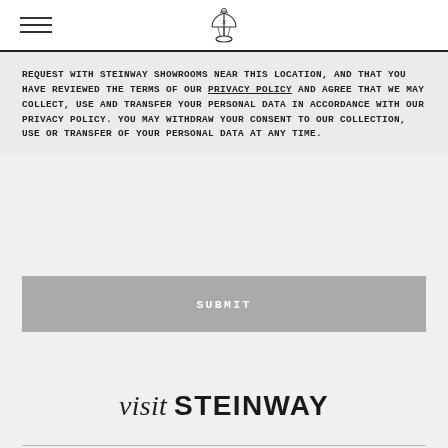Steinway logo and navigation
REQUEST WITH STEINWAY SHOWROOMS NEAR THIS LOCATION, AND THAT YOU HAVE REVIEWED THE TERMS OF OUR PRIVACY POLICY AND AGREE THAT WE MAY COLLECT, USE AND TRANSFER YOUR PERSONAL DATA IN ACCORDANCE WITH OUR PRIVACY POLICY. YOU MAY WITHDRAW YOUR CONSENT TO OUR COLLECTION, USE OR TRANSFER OF YOUR PERSONAL DATA AT ANY TIME.
SUBMIT
visit STEINWAY